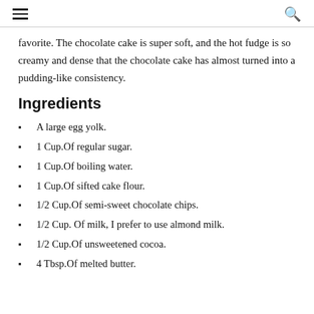≡  🔍
favorite. The chocolate cake is super soft, and the hot fudge is so creamy and dense that the chocolate cake has almost turned into a pudding-like consistency.
Ingredients
A large egg yolk.
1 Cup.Of regular sugar.
1 Cup.Of boiling water.
1 Cup.Of sifted cake flour.
1/2 Cup.Of semi-sweet chocolate chips.
1/2 Cup. Of milk, I prefer to use almond milk.
1/2 Cup.Of unsweetened cocoa.
4 Tbsp.Of melted butter.